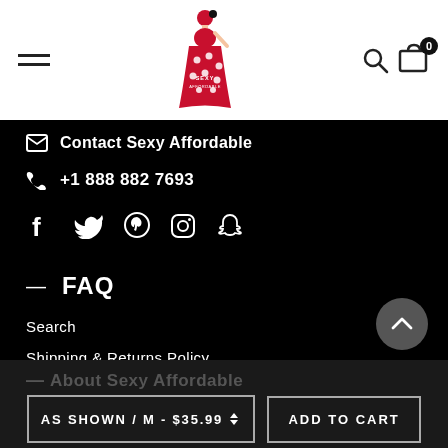[Figure (logo): Sexy Affordable logo — stylized female figure in red polka-dot dress with text]
✉ Contact Sexy Affordable
📞 +1 888 882 7693
[Figure (illustration): Social media icons: Facebook, Twitter, Pinterest, Instagram, Snapchat]
— FAQ
Search
Shipping & Returns Policy
Privacy Policy
About Sexy Affordable
AS SHOWN / M - $35.99 ⬍
ADD TO CART